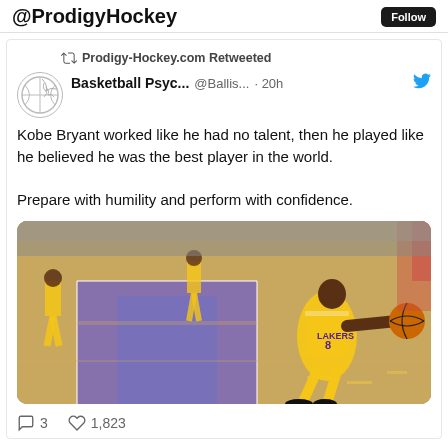@ProdigyHockey
Prodigy-Hockey.com Retweeted
Basketball Psyc... @Ballis... · 20h
Kobe Bryant worked like he had no talent, then he played like he believed he was the best player in the world.

Prepare with humility and perform with confidence.
[Figure (photo): Kobe Bryant wearing Lakers #8 yellow jersey going up for a dunk or layup on a basketball court, other Lakers players in background in yellow uniforms]
3   1,823